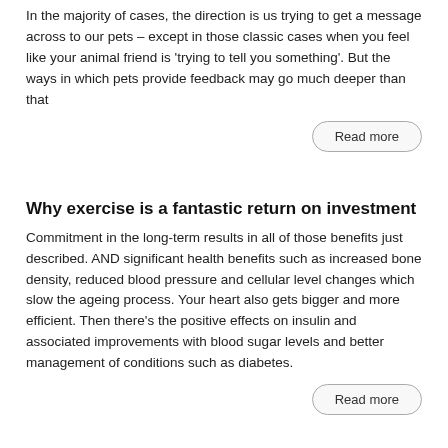In the majority of cases, the direction is us trying to get a message across to our pets – except in those classic cases when you feel like your animal friend is 'trying to tell you something'. But the ways in which pets provide feedback may go much deeper than that
Read more
Why exercise is a fantastic return on investment
Commitment in the long-term results in all of those benefits just described. AND significant health benefits such as increased bone density, reduced blood pressure and cellular level changes which slow the ageing process. Your heart also gets bigger and more efficient. Then there's the positive effects on insulin and associated improvements with blood sugar levels and better management of conditions such as diabetes.
Read more
Do you offer health and fitness treatments?
Health4You is creating the most comprehensive online